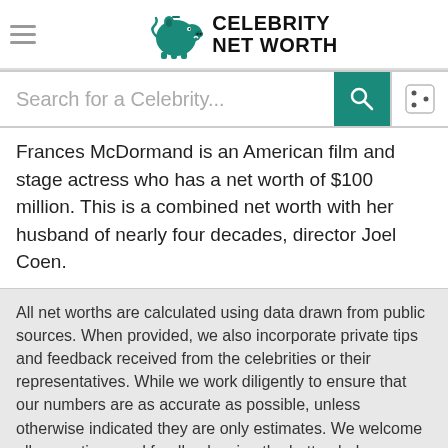Celebrity Net Worth
Search for a Celebrity...
Frances McDormand is an American film and stage actress who has a net worth of $100 million. This is a combined net worth with her husband of nearly four decades, director Joel Coen.
All net worths are calculated using data drawn from public sources. When provided, we also incorporate private tips and feedback received from the celebrities or their representatives. While we work diligently to ensure that our numbers are as accurate as possible, unless otherwise indicated they are only estimates. We welcome all corrections and feedback using the button below.
Submit a Correction
Celebrity Stats